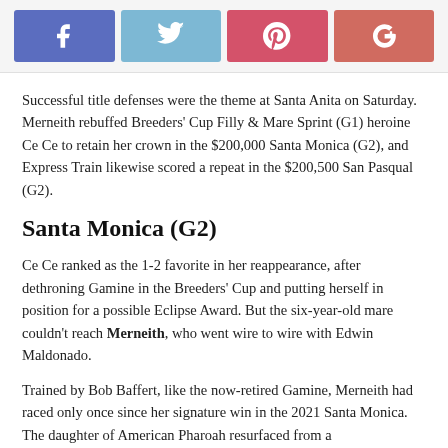[Figure (other): Social media share buttons: Facebook (blue-purple), Twitter (light blue), Pinterest (red-pink), Google+ (salmon-red)]
Successful title defenses were the theme at Santa Anita on Saturday. Merneith rebuffed Breeders' Cup Filly & Mare Sprint (G1) heroine Ce Ce to retain her crown in the $200,000 Santa Monica (G2), and Express Train likewise scored a repeat in the $200,500 San Pasqual (G2).
Santa Monica (G2)
Ce Ce ranked as the 1-2 favorite in her reappearance, after dethroning Gamine in the Breeders' Cup and putting herself in position for a possible Eclipse Award. But the six-year-old mare couldn't reach Merneith, who went wire to wire with Edwin Maldonado.
Trained by Bob Baffert, like the now-retired Gamine, Merneith had raced only once since her signature win in the 2021 Santa Monica. The daughter of American Pharoah resurfaced from a